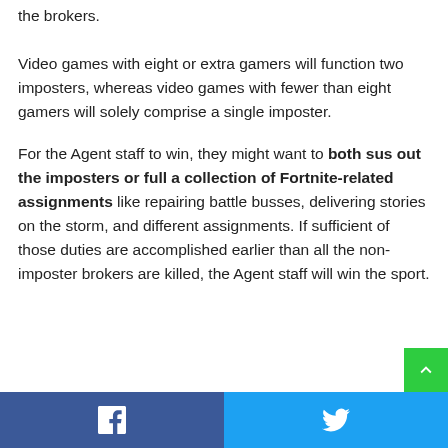the brokers.
Video games with eight or extra gamers will function two imposters, whereas video games with fewer than eight gamers will solely comprise a single imposter.
For the Agent staff to win, they might want to both sus out the imposters or full a collection of Fortnite-related assignments like repairing battle busses, delivering stories on the storm, and different assignments. If sufficient of those duties are accomplished earlier than all the non-imposter brokers are killed, the Agent staff will win the sport.
Facebook  Twitter